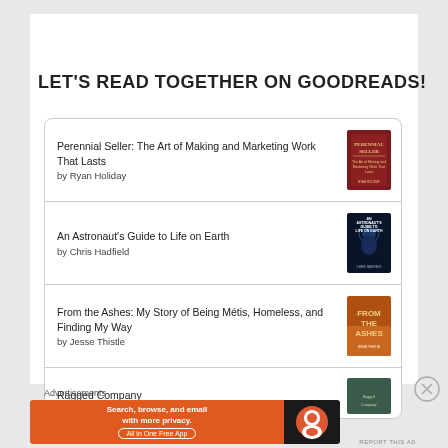LET'S READ TOGETHER ON GOODREADS!
Perennial Seller: The Art of Making and Marketing Work That Lasts by Ryan Holiday
An Astronaut's Guide to Life on Earth by Chris Hadfield
From the Ashes: My Story of Being Métis, Homeless, and Finding My Way by Jesse Thistle
Ragged Company
Advertisements
[Figure (screenshot): DuckDuckGo advertisement banner: 'Search, browse, and email with more privacy. All in One Free App' with DuckDuckGo logo on dark background]